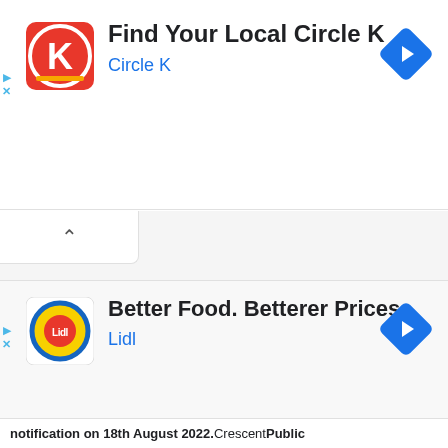[Figure (screenshot): Circle K ad banner with red Circle K logo on left, blue navigation diamond icon on right. Text: 'Find Your Local Circle K' and 'Circle K' in blue.]
[Figure (screenshot): Collapsed panel tab with chevron up icon, white background with border.]
[Figure (screenshot): Lidl ad banner with Lidl logo on left, blue navigation diamond icon on right. Text: 'Better Food. Betterer Prices.' and 'Lidl' in blue.]
notification on 18th August 2022. Crescent Public